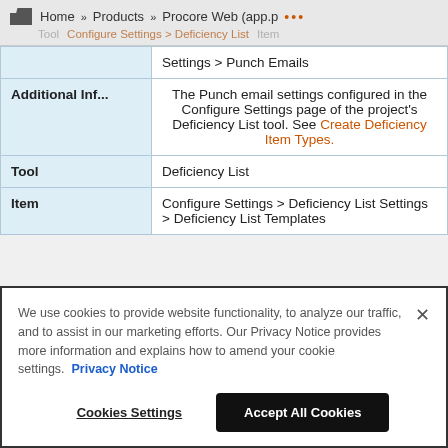Home » Products » Procore Web (app.p ... | Tool | Configure Settings > Deficiency List | Item
|  |  |
| --- | --- |
|  | Settings > Punch Emails |
| Additional Inf... | The Punch email settings configured in the Configure Settings page of the project's Deficiency List tool. See Create Deficiency Item Types. |
| Tool | Deficiency List |
| Item | Configure Settings > Deficiency List Settings > Deficiency List Templates |
We use cookies to provide website functionality, to analyze our traffic, and to assist in our marketing efforts. Our Privacy Notice provides more information and explains how to amend your cookie settings. Privacy Notice
Cookies Settings | Accept All Cookies